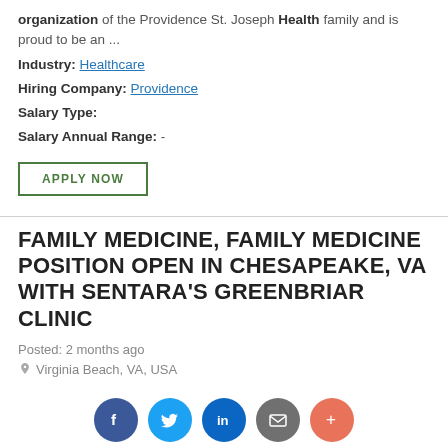organization of the Providence St. Joseph Health family and is proud to be an ...
Industry: Healthcare
Hiring Company: Providence
Salary Type:
Salary Annual Range: -
APPLY NOW
FAMILY MEDICINE, FAMILY MEDICINE POSITION OPEN IN CHESAPEAKE, VA WITH SENTARA'S GREENBRIAR CLINIC
Posted: 2 months ago
Virginia Beach, VA, USA
... innovative nonprofit healthcare system. Our physician-led organization is a top-tier, high ... Rural, suburban & urban opportunities are available to fit your lifestyle with great
[Figure (infographic): Social sharing icons row: Facebook (blue circle), Twitter (light blue circle), LinkedIn (dark blue circle), Email (gray circle), More/Plus (orange-red circle)]